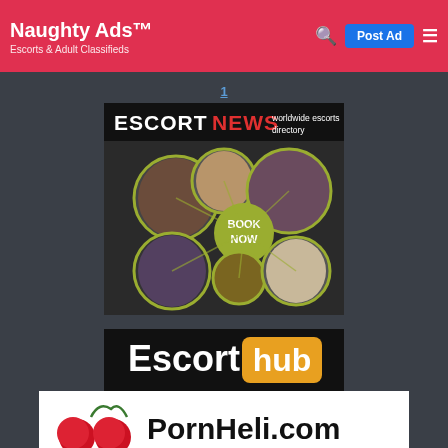Naughty Ads™ — Escorts & Adult Classifieds
1
[Figure (other): Escort NEWS worldwide escorts directory banner with 'BOOK NOW' button and five circular photos of women]
[Figure (other): Escort hub logo banner — white text 'Escort' and orange badge 'hub' on black background]
[Figure (other): PornHeli.com banner with cherry illustrations and site name text on white background]